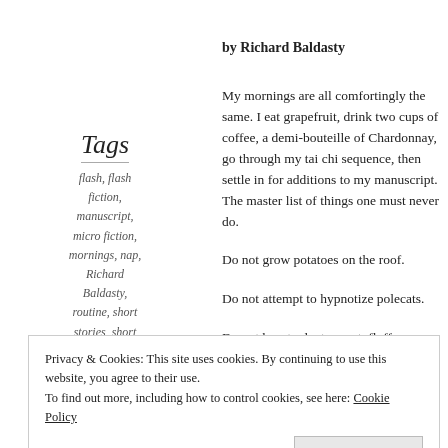by Richard Baldasty
Tags
flash, flash fiction, manuscript, micro fiction, mornings, nap, Richard Baldasty, routine, short stories, short story, video, vss, writing
My mornings are all comfortingly the same. I eat grapefruit, drink two cups of coffee, a demi-bouteille of Chardonnay, go through my tai chi sequence, then settle in for additions to my manuscript. The master list of things one must never do.
Do not grow potatoes on the roof.
Do not attempt to hypnotize polecats.
Do not boast, gloat, vaunt, fluff your feathers, Tarzan
Privacy & Cookies: This site uses cookies. By continuing to use this website, you agree to their use.
To find out more, including how to control cookies, see here: Cookie Policy
to video his snarls, photo his grimaces, post them on